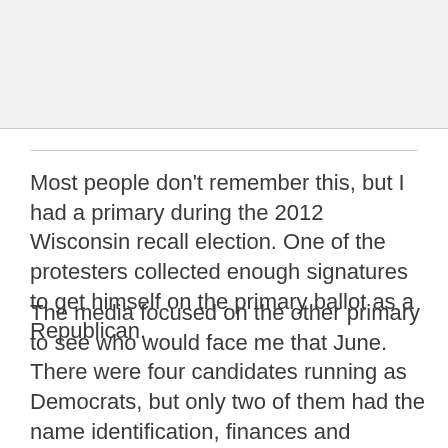[Figure (photo): Image placeholder at top of page]
Most people don't remember this, but I had a primary during the 2012 Wisconsin recall election. One of the protesters collected enough signatures to get himself on the primary ballot as a Republican.
The media focused on the other primary to see who would face me that June. There were four candidates running as Democrats, but only two of them had the name identification, finances and organization to win. They were crisscrossing the state on the campaign trail and overwhelming the airwaves with TV ads.